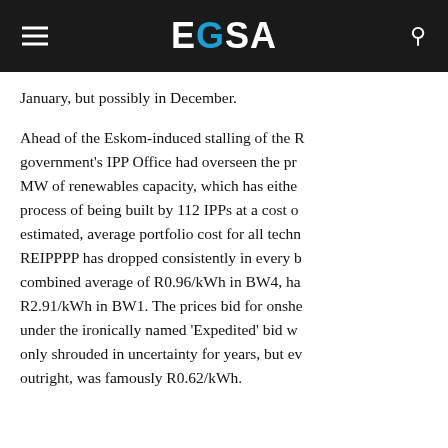EGSA
January, but possibly in December.
Ahead of the Eskom-induced stalling of the REIPPPP, the government's IPP Office had overseen the procurement of 6 422 MW of renewables capacity, which has either been built or is in the process of being built by 112 IPPs at a cost of R201.8bn. The estimated, average portfolio cost for all technologies under the REIPPPP has dropped consistently in every bid window, with a combined average of R0.96/kWh in BW4, having started at R2.91/kWh in BW1. The prices bid for onshore wind projects under the ironically named 'Expedited' bid window, which was not only shrouded in uncertainty for years, but eventually collapsed outright, was famously R0.62/kWh.